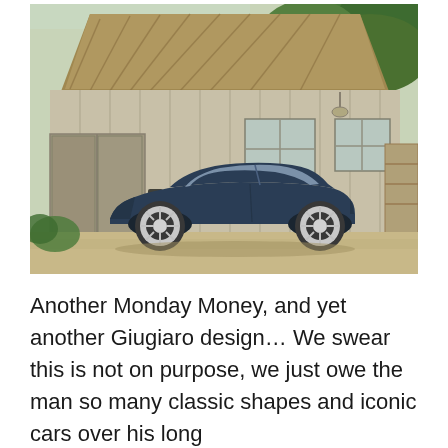[Figure (photo): Side profile of a dark blue Maserati sports coupe parked in front of a thatched-roof wooden barn/house with green trees in the background. The car has multi-spoke alloy wheels and a sleek coupe body style.]
Another Monday Money, and yet another Giugiaro design… We swear this is not on purpose, we just owe the man so many classic shapes and iconic cars over his long